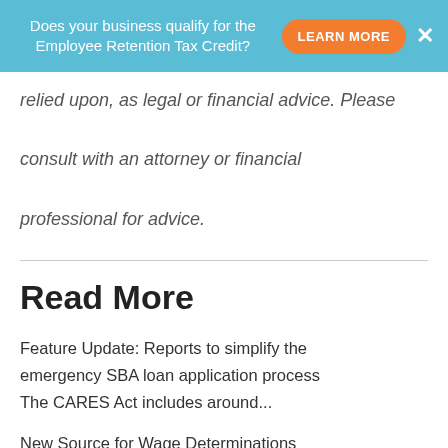Does your business qualify for the Employee Retention Tax Credit? LEARN MORE ×
relied upon, as legal or financial advice. Please consult with an attorney or financial professional for advice.
Read More
Feature Update: Reports to simplify the emergency SBA loan application process The CARES Act includes around...
New Source for Wage Determinations